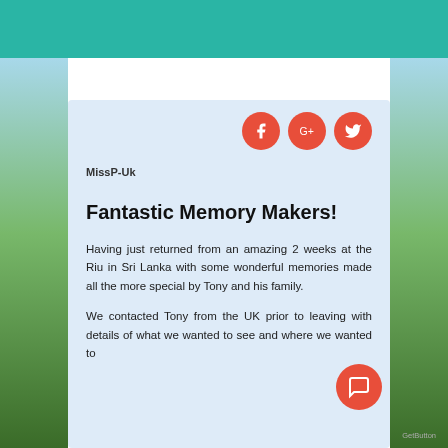[Figure (photo): Teal/green header bar at top of page]
[Figure (photo): Background photo of tropical landscape with palm trees and blue sky, visible on left and right edges]
MissP-Uk
Fantastic Memory Makers!
Having just returned from an amazing 2 weeks at the Riu in Sri Lanka with some wonderful memories made all the more special by Tony and his family.
We contacted Tony from the UK prior to leaving with details of what we wanted to see and where we wanted to